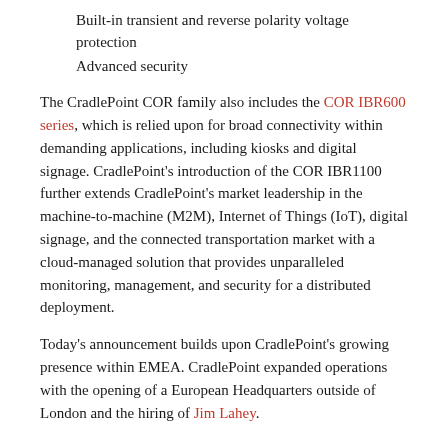Built-in transient and reverse polarity voltage protection
Advanced security
The CradlePoint COR family also includes the COR IBR600 series, which is relied upon for broad connectivity within demanding applications, including kiosks and digital signage. CradlePoint’s introduction of the COR IBR1100 further extends CradlePoint’s market leadership in the machine-to-machine (M2M), Internet of Things (IoT), digital signage, and the connected transportation market with a cloud-managed solution that provides unparalleled monitoring, management, and security for a distributed deployment.
Today’s announcement builds upon CradlePoint’s growing presence within EMEA. CradlePoint expanded operations with the opening of a European Headquarters outside of London and the hiring of Jim Lahey.